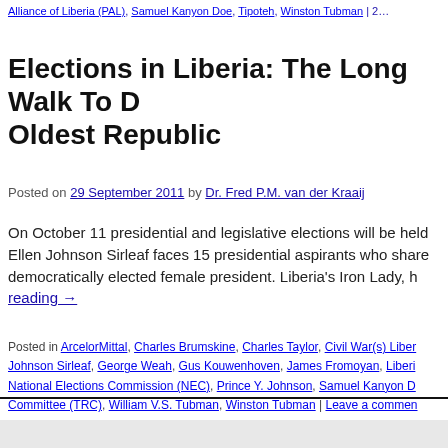Alliance of Liberia (PAL), Samuel Kanyon Doe, Tipoteh, Winston Tubman | 2...
Elections in Liberia: The Long Walk To Democracy in Africa's Oldest Republic
Posted on 29 September 2011 by Dr. Fred P.M. van der Kraaij
On October 11 presidential and legislative elections will be held... Ellen Johnson Sirleaf faces 15 presidential aspirants who share... democratically elected female president. Liberia's Iron Lady, h... reading →
Posted in ArcelorMittal, Charles Brumskine, Charles Taylor, Civil War(s) Liber... Johnson Sirleaf, George Weah, Gus Kouwenhoven, James Fromoyan, Liberi... National Elections Commission (NEC), Prince Y. Johnson, Samuel Kanyon D... Committee (TRC), William V.S. Tubman, Winston Tubman | Leave a commen...